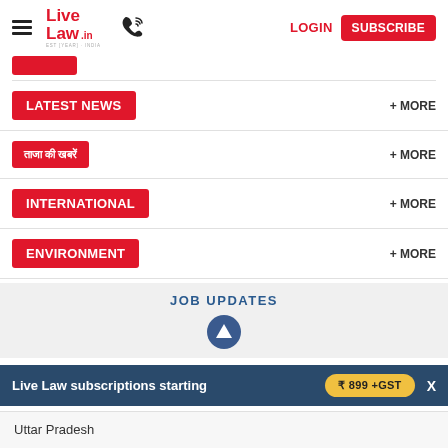Live Law - LOGIN - SUBSCRIBE
LATEST NEWS + MORE
ताजा खबर + MORE
INTERNATIONAL + MORE
ENVIRONMENT + MORE
JOB UPDATES
Live Law subscriptions starting ₹ 899 +GST
Uttar Pradesh